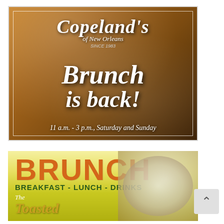[Figure (photo): Copeland's of New Orleans restaurant advertisement showing powdered sugar dusted fried pastries with a dipping sauce bowl. Text overlay reads: Copeland's of New Orleans, Brunch is back!, 11 a.m. - 3 p.m., Saturday and Sunday]
[Figure (photo): Brunch menu advertisement with bright yellow-green background showing large orange text 'BRUNCH', subtitle 'BREAKFAST - LUNCH - DRINKS', and partial image of The Toasted dish with food photo on right side]